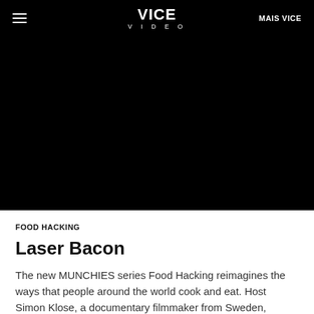VICE VIDEO | MAIS VICE
[Figure (screenshot): Black video player area showing a VICE Video episode thumbnail/player, completely black screen]
FOOD HACKING
Laser Bacon
The new MUNCHIES series Food Hacking reimagines the ways that people around the world cook and eat. Host Simon Klose, a documentary filmmaker from Sweden, explores the cutting-